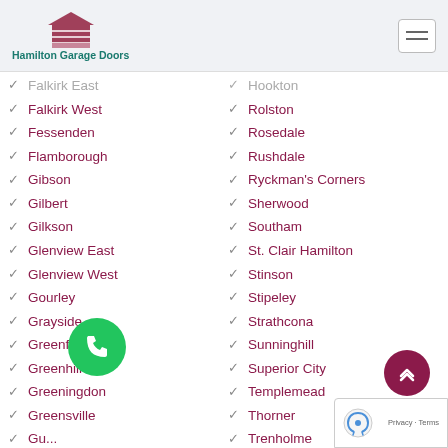Hamilton Garage Doors
Falkirk East
Falkirk West
Fessenden
Flamborough
Gibson
Gilbert
Gilkson
Glenview East
Glenview West
Gourley
Grayside
Greenford
Greenhill
Greeningdon
Greensville
Gu[obscured]
[H...]Beach
[H...]Heights
Hannon North
Hannon South
Hookton
Rolston
Rosedale
Rushdale
Ryckman's Corners
Sherwood
Southam
St. Clair Hamilton
Stinson
Stipeley
Strathcona
Sunninghill
Superior City
Templemead
Thorner
Trenholme
Twenty Place
Vincent
Waterdown
West Flamborough